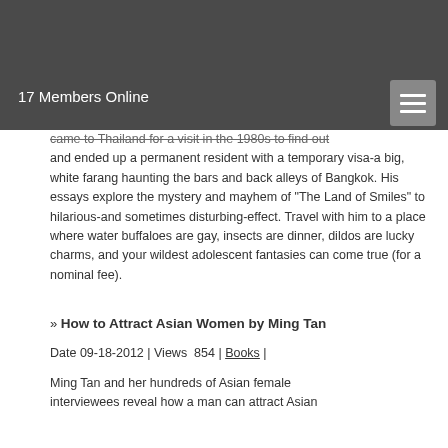17 Members Online
came to Thailand for a visit in the 1980s to find out and ended up a permanent resident with a temporary visa-a big, white farang haunting the bars and back alleys of Bangkok. His essays explore the mystery and mayhem of "The Land of Smiles" to hilarious-and sometimes disturbing-effect. Travel with him to a place where water buffaloes are gay, insects are dinner, dildos are lucky charms, and your wildest adolescent fantasies can come true (for a nominal fee).
» How to Attract Asian Women by Ming Tan
Date 09-18-2012 | Views  854 | Books |
Ming Tan and her hundreds of Asian female interviewees reveal how a man can attract Asian